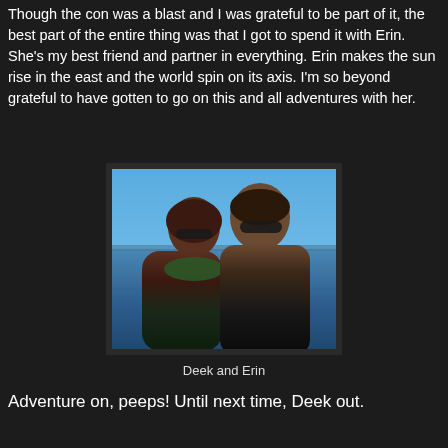Though the con was a blast and I was grateful to be part of it, the best part of the entire thing was that I got to spend it with Erin. She's my best friend and partner in everything. Erin makes the sun rise in the east and the world spin on its axis. I'm so beyond grateful to have gotten to go on this and all adventures with her.
[Figure (photo): A couple selfie photo of two people (Deek and Erin) smiling in front of a body of water under a clear blue sky. The woman on the left has dark hair and sunglasses, wearing a green scarf. The man on the right has dark hair and sunglasses, wearing a dark jacket.]
Deek and Erin
Adventure on, peeps! Until next time, Deek out.